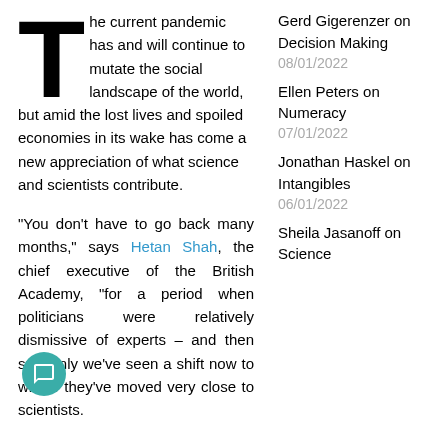The current pandemic has and will continue to mutate the social landscape of the world, but amid the lost lives and spoiled economies in its wake has come a new appreciation of what science and scientists contribute.
“You don’t have to go back many months,” says Hetan Shah, the chief executive of the British Academy, “for a period when politicians were relatively dismissive of experts – and then suddenly we’ve seen a shift now to where they’ve moved very close to scientists.
Gerd Gigerenzer on Decision Making
08/01/2022
Ellen Peters on Numeracy
07/01/2022
Jonathan Haskel on Intangibles
06/01/2022
Sheila Jasanoff on Science